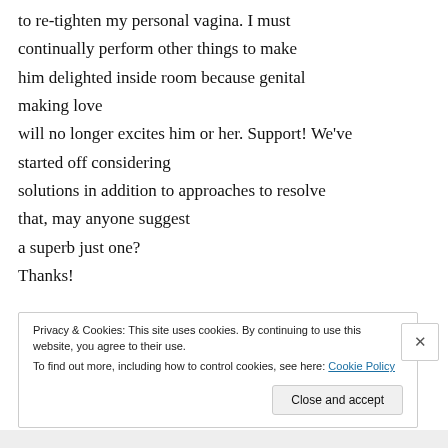to re-tighten my personal vagina. I must continually perform other things to make him delighted inside room because genital making love will no longer excites him or her. Support! We've started off considering solutions in addition to approaches to resolve that, may anyone suggest a superb just one? Thanks!
Privacy & Cookies: This site uses cookies. By continuing to use this website, you agree to their use. To find out more, including how to control cookies, see here: Cookie Policy